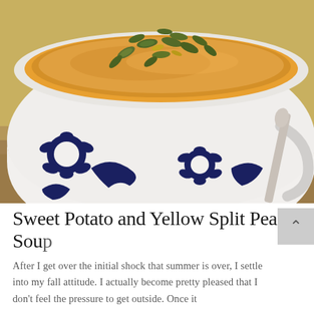[Figure (photo): A white ceramic bowl with dark navy blue floral pattern design, filled with golden-orange sweet potato and yellow split pea soup, topped with roasted pumpkin seeds (pepitas), placed on a wooden surface with a spoon visible to the right.]
Sweet Potato and Yellow Split Pea Soup
After I get over the initial shock that summer is over, I settle into my fall attitude. I actually become pretty pleased that I don't feel the pressure to get outside. Once it